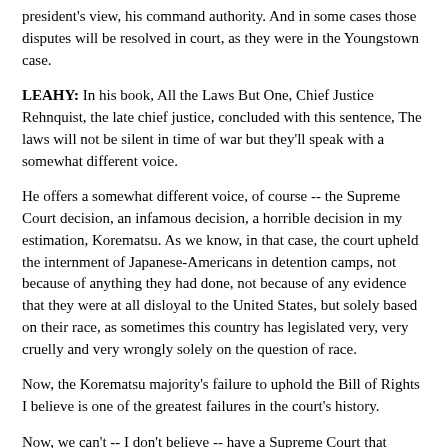president's view, his command authority. And in some cases those disputes will be resolved in court, as they were in the Youngstown case.
LEAHY: In his book, All the Laws But One, Chief Justice Rehnquist, the late chief justice, concluded with this sentence, The laws will not be silent in time of war but they'll speak with a somewhat different voice.
He offers a somewhat different voice, of course -- the Supreme Court decision, an infamous decision, a horrible decision in my estimation, Korematsu. As we know, in that case, the court upheld the internment of Japanese-Americans in detention camps, not because of anything they had done, not because of any evidence that they were at all disloyal to the United States, but solely based on their race, as sometimes this country has legislated very, very cruelly and very wrongly solely on the question of race.
Now, the Korematsu majority's failure to uphold the Bill of Rights I believe is one of the greatest failures in the court's history.
Now, we can't -- I don't believe -- have a Supreme Court that would continue the failings of Korematsu, especially when we're engaged on a war on terror that could last throughout our lifetime; probably will. We'll always face -- we'll always -- this country, all